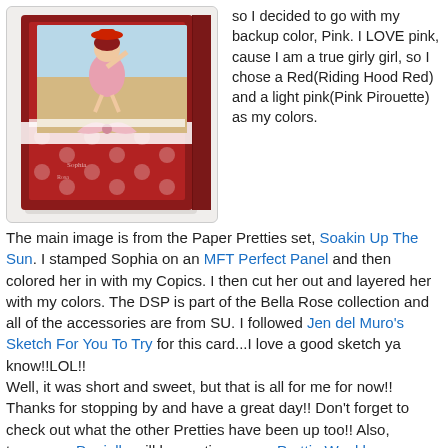[Figure (photo): A handmade greeting card in red and pink colors featuring a stamped image of a girl (Sophia) on an MFT Perfect Panel, with a pink ribbon bow, polka dot patterned paper, and layered card elements, photographed on a white surface.]
so I decided to go with my backup color, Pink. I LOVE pink, cause I am a true girly girl, so I chose a Red(Riding Hood Red) and a light pink(Pink Pirouette) as my colors. The main image is from the Paper Pretties set, Soakin Up The Sun. I stamped Sophia on an MFT Perfect Panel and then colored her in with my Copics. I then cut her out and layered her with my colors. The DSP is part of the Bella Rose collection and all of the accessories are from SU. I followed Jen del Muro's Sketch For You To Try for this card...I love a good sketch ya know!!LOL!!
Well, it was short and sweet, but that is all for me for now!! Thanks for stopping by and have a great day!! Don't forget to check out what the other Pretties have been up too!! Also, tomorrow, Danielle will be posting a new Prettie Weekly Challenge, so you won't want to miss that!! Thanks again!!